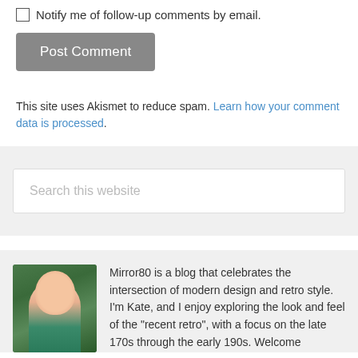Notify me of follow-up comments by email.
Post Comment
This site uses Akismet to reduce spam. Learn how your comment data is processed.
Search this website
[Figure (photo): Portrait photo of a young woman with dark hair, smiling, in front of green foliage]
Mirror80 is a blog that celebrates the intersection of modern design and retro style. I'm Kate, and I enjoy exploring the look and feel of the "recent retro", with a focus on the late 170s through the early 190s. Welcome